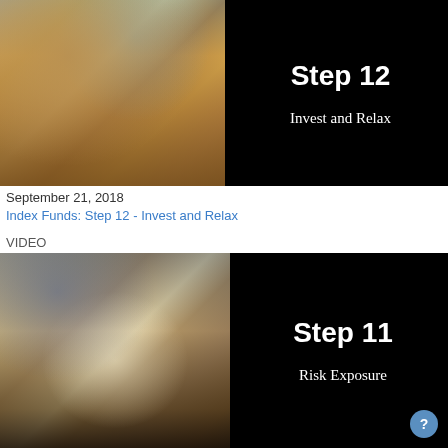[Figure (photo): Video thumbnail for Step 12 - Invest and Relax, showing a painting of two people relaxing in a hammock on a beach on the left, and bold white text 'Step 12' and 'Invest and Relax' on a black background on the right.]
September 21, 2018
Index Funds: Step 12 - Invest and Relax
VIDEO
[Figure (photo): Video thumbnail for Step 11 - Risk Exposure, showing a painting of a chef looking at an open book/ledger on the left, and bold white text 'Step 11' and 'Risk Exposure' on a black background on the right.]